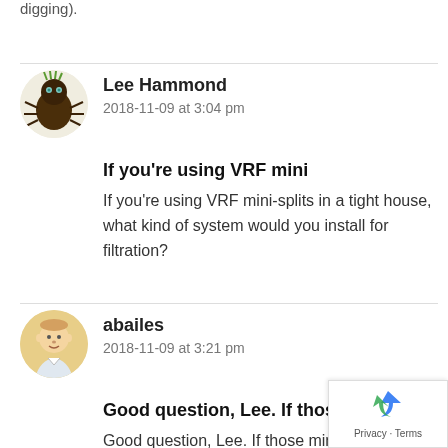digging).
Lee Hammond
2018-11-09 at 3:04 pm
If you're using VRF mini
If you're using VRF mini-splits in a tight house, what kind of system would you install for filtration?
abailes
2018-11-09 at 3:21 pm
Good question, Lee.  If those
Good question, Lee.  If those mini-splits